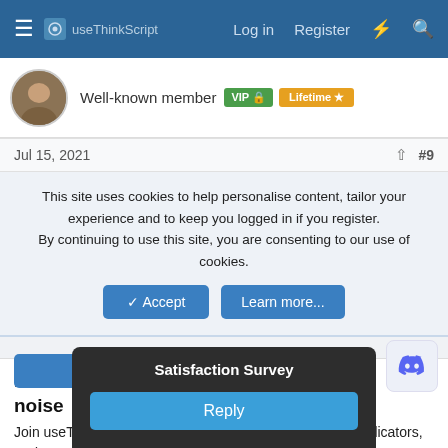useThinkScript — Log in  Register
Well-known member  VIP  Lifetime
Jul 15, 2021  #9
This site uses cookies to help personalise content, tailor your experience and to keep you logged in if you register.
By continuing to use this site, you are consenting to our use of cookies.
✓ Accept   Learn more...
Make better trading decisions with less noise
Join useThinkScript to stay update to date on the latest indicators, trade strategies, and tips for thinkorswim.
Satisfaction Survey
Reply